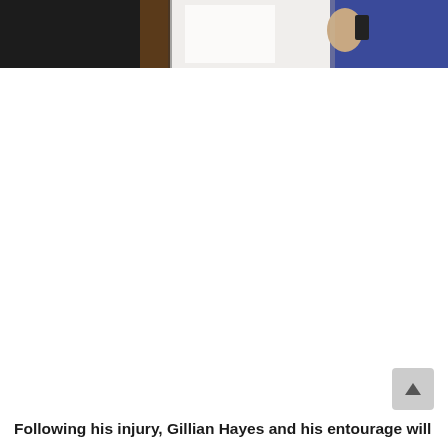[Figure (photo): Partial photo showing two people: one in a black outfit on the left and one in a white top with a blue sleeve/arm accessory on the right, against a beige/tan background. Only the lower portion of the figures is visible (cropped at top).]
Following his injury, Gillian Hayes and his entourage will